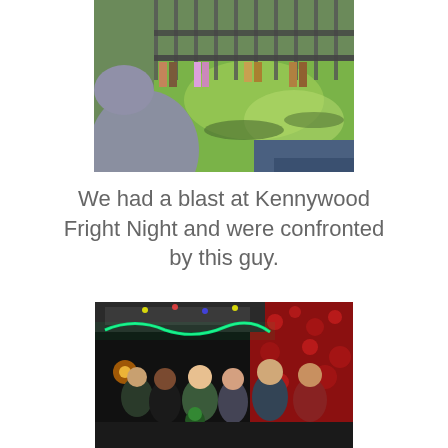[Figure (photo): Outdoor photo showing a person in a gray hoodie in the foreground, green grass in the background with shadows, and people standing near a metal fence in bright sunlight.]
We had a blast at Kennywood Fright Night and were confronted by this guy.
[Figure (photo): Group of six young people posing at night at Kennywood Fright Night, with green neon lights and red decorative lighting in the background.]